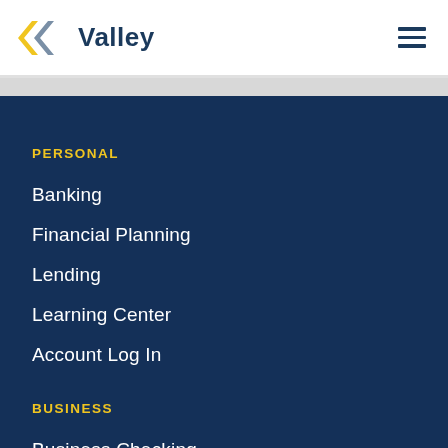[Figure (logo): Valley Bank logo with yellow and gray arrow/chevron shapes and text 'Valley']
PERSONAL
Banking
Financial Planning
Lending
Learning Center
Account Log In
BUSINESS
Business Checking